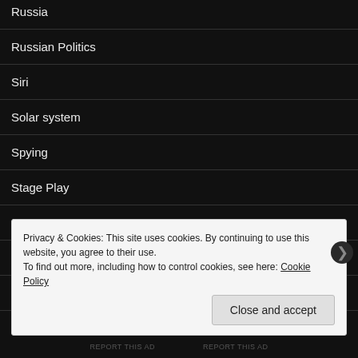Russia
Russian Politics
Siri
Solar system
Spying
Stage Play
Strange news.
Strange things
Strange things in the news
Privacy & Cookies: This site uses cookies. By continuing to use this website, you agree to their use.
To find out more, including how to control cookies, see here: Cookie Policy
Close and accept
REPORT THIS AD